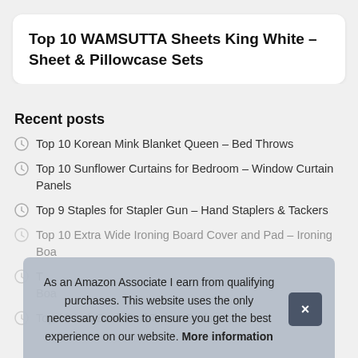Top 10 WAMSUTTA Sheets King White – Sheet & Pillowcase Sets
Recent posts
Top 10 Korean Mink Blanket Queen – Bed Throws
Top 10 Sunflower Curtains for Bedroom – Window Curtain Panels
Top 9 Staples for Stapler Gun – Hand Staplers & Tackers
Top 10 Extra Wide Ironing Board Cover and Pad – Ironing Boa...
T... Boa...
Top 10 Loft Bunk Bed Twin – Beds
As an Amazon Associate I earn from qualifying purchases. This website uses the only necessary cookies to ensure you get the best experience on our website. More information